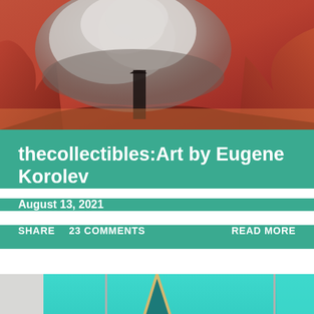[Figure (illustration): Dramatic fantasy/sci-fi landscape painting showing a large cloud or atmospheric formation in cool grey-blue tones against a fiery orange-red rocky background. Dark silhouetted figure or structure visible. Art by Eugene Korolev.]
thecollectibles:Art by Eugene Korolev
August 13, 2021
SHARE   23 COMMENTS   READ MORE
[Figure (illustration): Abstract geometric digital artwork featuring teal/turquoise rectangular panels and a tall triangular or obelisk-like shape in teal and dark teal with a beige/gold border, on a light grey background. Collectibles art preview.]